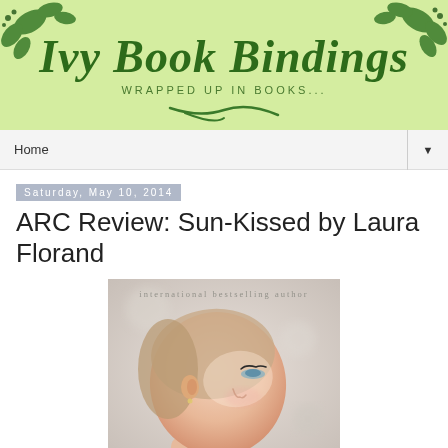[Figure (logo): Ivy Book Bindings blog header logo with light green background, decorative ivy leaves in dark green, script text reading 'Ivy Book Bindings' and subtitle 'WRAPPED UP IN BOOKS...' with a decorative green swirl]
Home ▼
Saturday, May 10, 2014
ARC Review: Sun-Kissed by Laura Florand
[Figure (photo): Book cover photo showing a close-up profile of a young woman's face looking upward, soft focus background, with text 'international bestselling author' across the top]